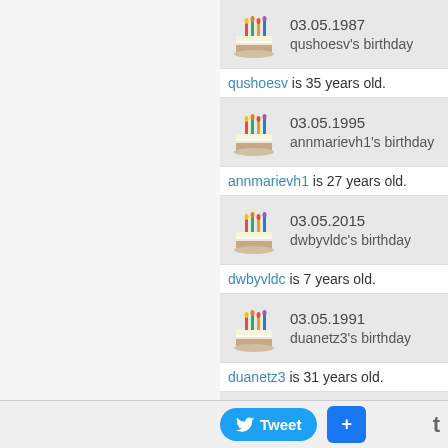03.05.1987 qushoesv's birthday — qushoesv is 35 years old.
03.05.1995 annmarievh1's birthday — annmarievh1 is 27 years old.
03.05.2015 dwbyvldc's birthday — dwbyvldc is 7 years old.
03.05.1991 duanetz3's birthday — duanetz3 is 31 years old.
03.05.1925 zevlygqg's birthday — zevlygqg is 97 years old.
03.05.1931 safpcyzm's birthday
Tweet  +  t